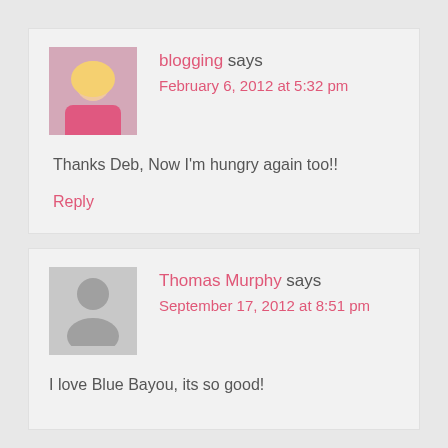blogging says
February 6, 2012 at 5:32 pm
Thanks Deb, Now I'm hungry again too!!
Reply
Thomas Murphy says
September 17, 2012 at 8:51 pm
I love Blue Bayou, its so good!